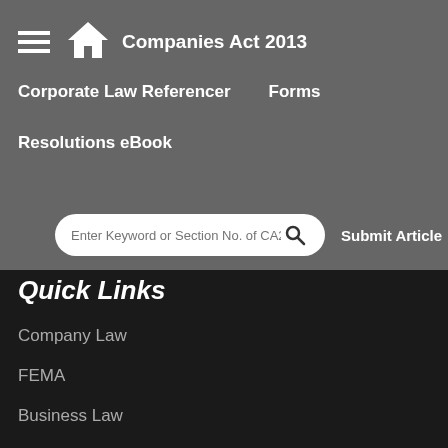Companies Act 2013
Corporate Law Referencer
Forms
Resolutions eBook
Enter Keyword or Section No. of CA2013
Submit Article
Quick Links
Company Law
FEMA
Business Law
Taxation